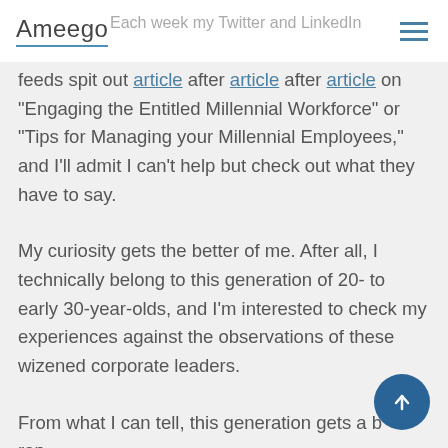Ameego
feeds spit out article after article after article on “Engaging the Entitled Millennial Workforce” or “Tips for Managing your Millennial Employees,” and I’ll admit I can’t help but check out what they have to say.
My curiosity gets the better of me. After all, I technically belong to this generation of 20- to early 30-year-olds, and I’m interested to check my experiences against the observations of these wizened corporate leaders.
From what I can tell, this generation gets a bad rap.